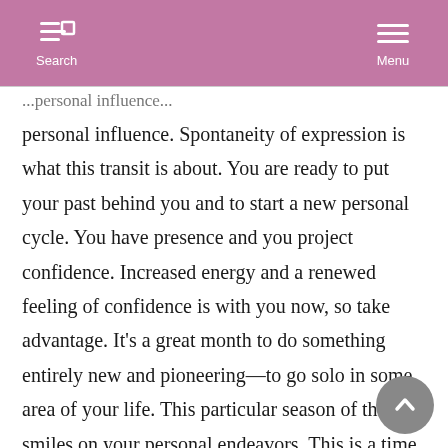Search   Menu
personal influence. Spontaneity of expression is what this transit is about. You are ready to put your past behind you and to start a new personal cycle. You have presence and you project confidence. Increased energy and a renewed feeling of confidence is with you now, so take advantage. It's a great month to do something entirely new and pioneering—to go solo in some area of your life. This particular season of the year smiles on your personal endeavors. This is a time when you more easily get in touch with a true sense of your identity and purpose. The most enterprising side of your nature surfaces, and it's time to seize opportunities. Existing problems in your life may be overcome now by bravery and a straightforward approach to